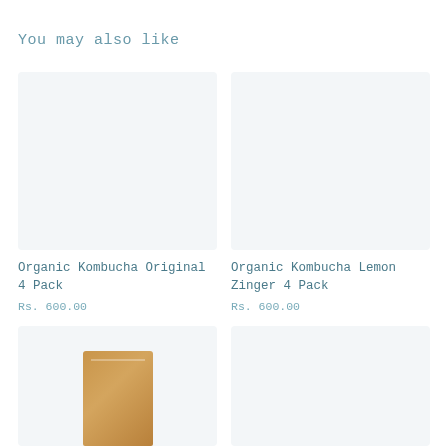You may also like
[Figure (photo): Product image placeholder – light grey/blue background, empty (no product shown), for Organic Kombucha Original 4 Pack]
Organic Kombucha Original 4 Pack
Rs. 600.00
[Figure (photo): Product image placeholder – light grey/blue background, empty (no product shown), for Organic Kombucha Lemon Zinger 4 Pack]
Organic Kombucha Lemon Zinger 4 Pack
Rs. 600.00
[Figure (photo): Partial product image – tan/brown kraft paper packaging visible at bottom of card]
[Figure (photo): Product image placeholder – light grey/blue background, empty (no product shown), fourth product card]